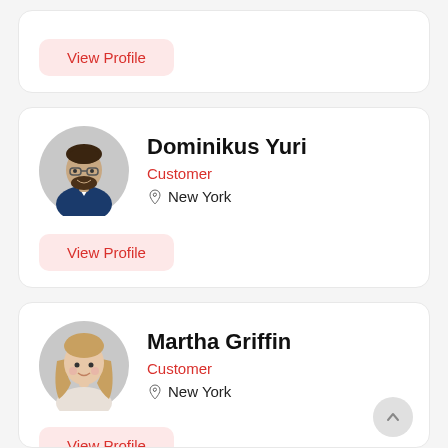[Figure (other): Partial profile card with View Profile button visible at top]
View Profile
Dominikus Yuri
Customer
New York
View Profile
Martha Griffin
Customer
New York
View Profile